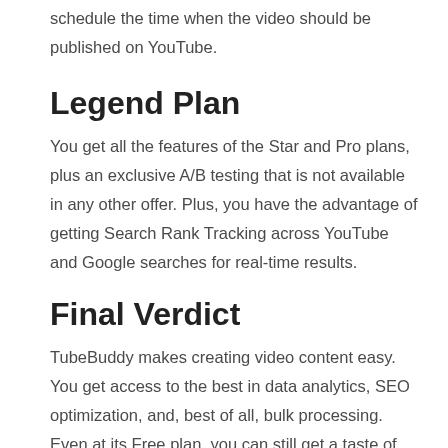schedule the time when the video should be published on YouTube.
Legend Plan
You get all the features of the Star and Pro plans, plus an exclusive A/B testing that is not available in any other offer. Plus, you have the advantage of getting Search Rank Tracking across YouTube and Google searches for real-time results.
Final Verdict
TubeBuddy makes creating video content easy. You get access to the best in data analytics, SEO optimization, and, best of all, bulk processing. Even at its Free plan, you can still get a taste of their professional service.
The program is accessible to many internet browsers, so there